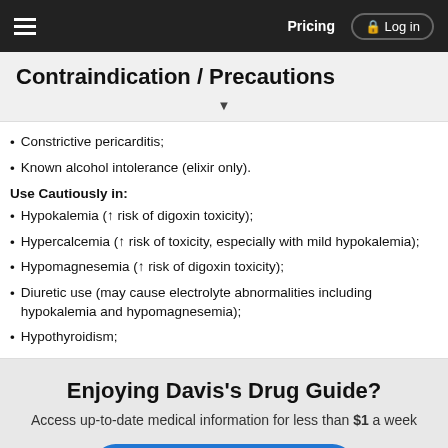Pricing | Log in
Contraindication / Precautions
Constrictive pericarditis;
Known alcohol intolerance (elixir only).
Use Cautiously in:
Hypokalemia (↑ risk of digoxin toxicity);
Hypercalcemia (↑ risk of toxicity, especially with mild hypokalemia);
Hypomagnesemia (↑ risk of digoxin toxicity);
Diuretic use (may cause electrolyte abnormalities including hypokalemia and hypomagnesemia);
Hypothyroidism;
Enjoying Davis's Drug Guide?
Access up-to-date medical information for less than $1 a week
Purchase a subscription
I'm already a subscriber